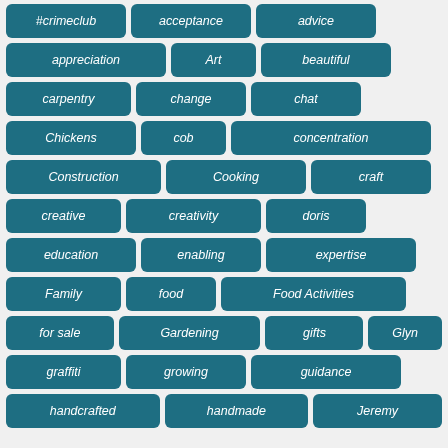[Figure (other): Tag cloud with teal rounded-rectangle tags arranged in rows. Tags include: #crimeclub, acceptance, advice, appreciation, Art, beautiful, carpentry, change, chat, Chickens, cob, concentration, Construction, Cooking, craft, creative, creativity, doris, education, enabling, expertise, Family, food, Food Activities, for sale, Gardening, gifts, Glyn, graffiti, growing, guidance, handcrafted, handmade, Jeremy]